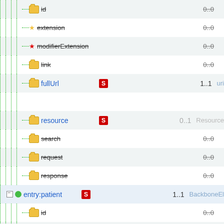[Figure (screenshot): FHIR resource tree structure showing entry bundle elements with names, cardinalities, and types. Items include id, extension, modifierExtension, link, fullUrl, resource, search, request, response, entry:patient and their children.]